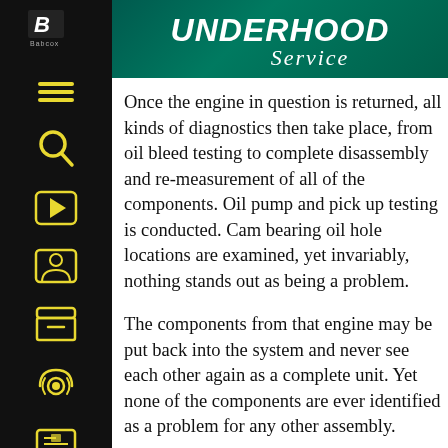UNDERHOOD Service
Once the engine in question is returned, all kinds of diagnostics then take place, from oil bleed testing to complete disassembly and re-measurement of all of the components. Oil pump and pick up testing is conducted. Cam bearing oil hole locations are examined, yet invariably, nothing stands out as being a problem.
The components from that engine may be put back into the system and never see each other again as a complete unit. Yet none of the components are ever identified as a problem for any other assembly.
So how do you explain the oil pressure gremlin? More often than not you can't, and you just move on to “it happened” and that is that.